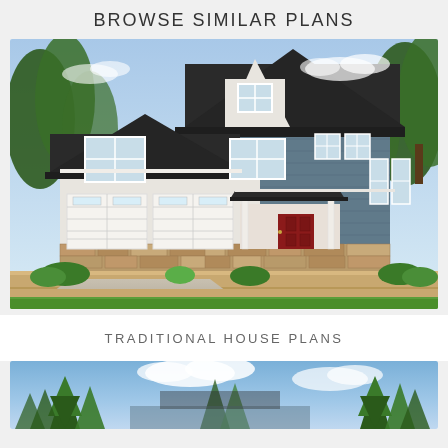BROWSE SIMILAR PLANS
[Figure (photo): Exterior rendering of a two-story traditional craftsman-style house with gray siding, stone accents, two-car garage, red front door, and landscaped front yard]
TRADITIONAL HOUSE PLANS
[Figure (photo): Partial exterior photo of another house plan showing blue sky and evergreen trees, bottom portion of page]